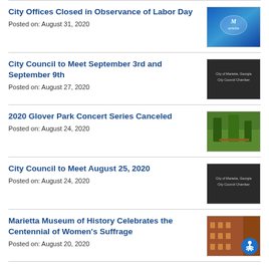City Offices Closed in Observance of Labor Day
Posted on: August 31, 2020
City Council to Meet September 3rd and September 9th
Posted on: August 27, 2020
2020 Glover Park Concert Series Canceled
Posted on: August 24, 2020
City Council to Meet August 25, 2020
Posted on: August 24, 2020
Marietta Museum of History Celebrates the Centennial of Women's Suffrage
Posted on: August 20, 2020